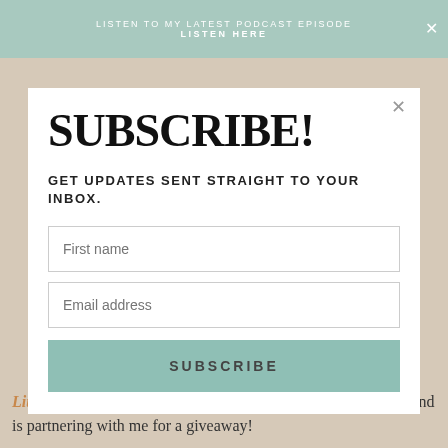LISTEN TO MY LATEST PODCAST EPISODE
LISTEN HERE
SUBSCRIBE!
GET UPDATES SENT STRAIGHT TO YOUR INBOX.
First name
Email address
SUBSCRIBE
Little Simon sent me these adorable board books to check out and is partnering with me for a giveaway!